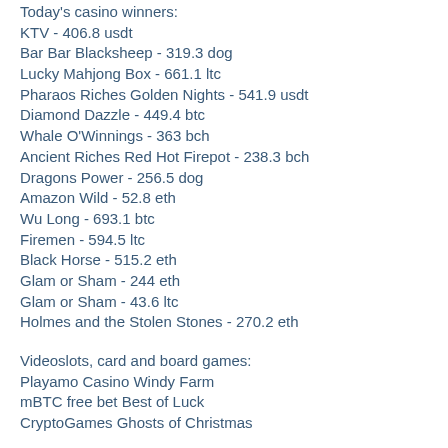Today's casino winners:
KTV - 406.8 usdt
Bar Bar Blacksheep - 319.3 dog
Lucky Mahjong Box - 661.1 ltc
Pharaos Riches Golden Nights - 541.9 usdt
Diamond Dazzle - 449.4 btc
Whale O'Winnings - 363 bch
Ancient Riches Red Hot Firepot - 238.3 bch
Dragons Power - 256.5 dog
Amazon Wild - 52.8 eth
Wu Long - 693.1 btc
Firemen - 594.5 ltc
Black Horse - 515.2 eth
Glam or Sham - 244 eth
Glam or Sham - 43.6 ltc
Holmes and the Stolen Stones - 270.2 eth
Videoslots, card and board games:
Playamo Casino Windy Farm
mBTC free bet Best of Luck
CryptoGames Ghosts of Christmas